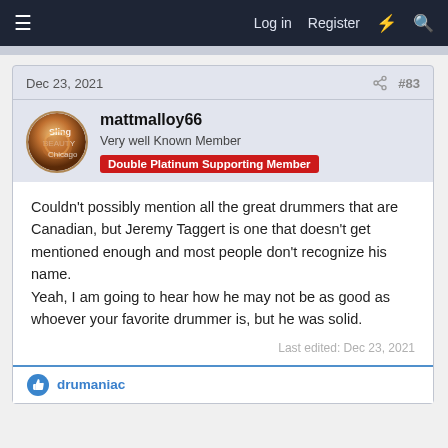Log in  Register
Dec 23, 2021  #83
mattmalloy66
Very well Known Member  Double Platinum Supporting Member
Couldn't possibly mention all the great drummers that are Canadian, but Jeremy Taggert is one that doesn't get mentioned enough and most people don't recognize his name.
Yeah, I am going to hear how he may not be as good as whoever your favorite drummer is, but he was solid.
Last edited: Dec 23, 2021
drumaniac